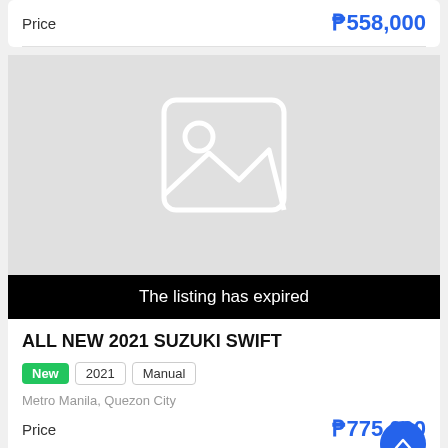Price  ₱558,000
[Figure (photo): No image placeholder with image icon on grey background]
The listing has expired
ALL NEW 2021 SUZUKI SWIFT
New  2021  Manual
Metro Manila, Quezon City
Price  ₱775,000